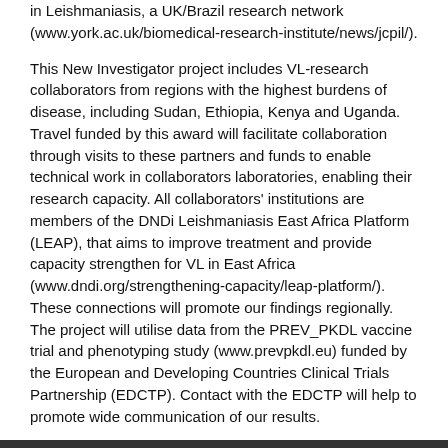in Leishmaniasis, a UK/Brazil research network (www.york.ac.uk/biomedical-research-institute/news/jcpil/).
This New Investigator project includes VL-research collaborators from regions with the highest burdens of disease, including Sudan, Ethiopia, Kenya and Uganda. Travel funded by this award will facilitate collaboration through visits to these partners and funds to enable technical work in collaborators laboratories, enabling their research capacity. All collaborators' institutions are members of the DNDi Leishmaniasis East Africa Platform (LEAP), that aims to improve treatment and provide capacity strengthen for VL in East Africa (www.dndi.org/strengthening-capacity/leap-platform/). These connections will promote our findings regionally. The project will utilise data from the PREV_PKDL vaccine trial and phenotyping study (www.prevpkdl.eu) funded by the European and Developing Countries Clinical Trials Partnership (EDCTP). Contact with the EDCTP will help to promote wide communication of our results.